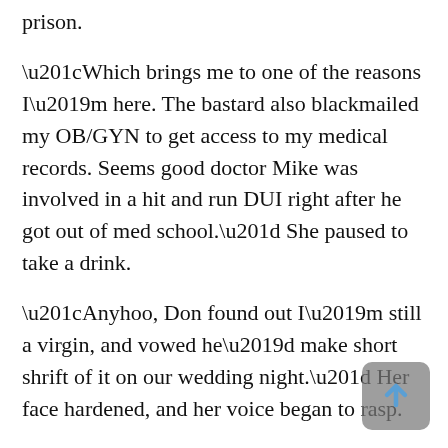prison.
“Which brings me to one of the reasons I’m here. The bastard also blackmailed my OB/GYN to get access to my medical records. Seems good doctor Mike was involved in a hit and run DUI right after he got out of med school.” She paused to take a drink.
“Anyhoo, Don found out I’m still a virgin, and vowed he’d make short shrift of it on our wedding night.” Her face hardened, and her voice began to rasp.
“If I have to, before I let him anywhere near my cunt, I’ll walk into a biker bar and offer my cherry to the dirtiest motherfucker ataşehir escort in the place,” she hissed, biting the words out. Softly, almost as a whisper, she added, “I’m hoping you won’t make me do that,”.
Lee’s chopstick load of beef stopped in mid-air as he